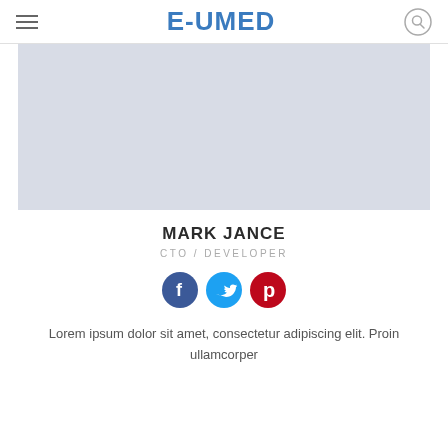E-UMED
[Figure (photo): Large light gray placeholder hero image banner]
MARK JANCE
CTO / DEVELOPER
[Figure (illustration): Three social media circular icon buttons: Facebook (blue), Twitter (blue), Pinterest (red)]
Lorem ipsum dolor sit amet, consectetur adipiscing elit. Proin ullamcorper